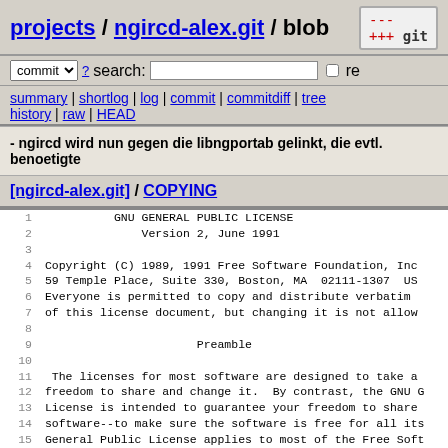projects / ngircd-alex.git / blob
commit ? search: re
summary | shortlog | log | commit | commitdiff | tree history | raw | HEAD
- ngircd wird nun gegen die libngportab gelinkt, die evtl. benoetigte
[ngircd-alex.git] / COPYING
1  GNU GENERAL PUBLIC LICENSE
2  Version 2, June 1991
3
4  Copyright (C) 1989, 1991 Free Software Foundation, Inc
5  59 Temple Place, Suite 330, Boston, MA  02111-1307  US
6  Everyone is permitted to copy and distribute verbatim
7  of this license document, but changing it is not allow
8
9  Preamble
10
11   The licenses for most software are designed to take a
12  freedom to share and change it.  By contrast, the GNU G
13  License is intended to guarantee your freedom to share
14  software--to make sure the software is free for all its
15  General Public License applies to most of the Free Soft
16  Foundation's software and to any other program whose au
17  using it.  (Some other Free Software Foundation softwar
18  the GNU Library General Public License instead.)  You